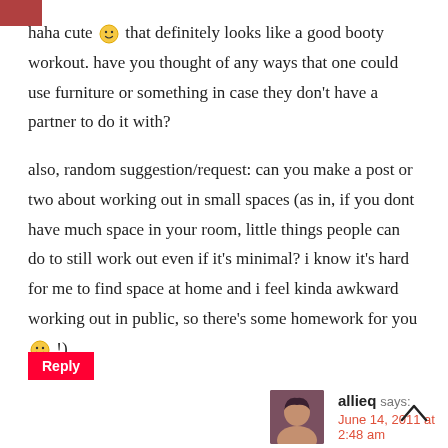haha cute 🙂 that definitely looks like a good booty workout. have you thought of any ways that one could use furniture or something in case they don't have a partner to do it with?
also, random suggestion/request: can you make a post or two about working out in small spaces (as in, if you dont have much space in your room, little things people can do to still work out even if it's minimal? i know it's hard for me to find space at home and i feel kinda awkward working out in public, so there's some homework for you 🙂 !)
Reply
allieq says: June 14, 2011 at 2:48 am